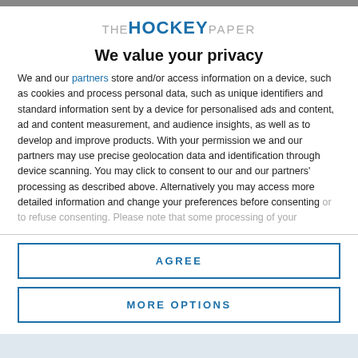[Figure (logo): The Hockey Paper logo with 'THE' in gray, 'HOCKEY' in bold blue, 'PAPER' in gray]
We value your privacy
We and our partners store and/or access information on a device, such as cookies and process personal data, such as unique identifiers and standard information sent by a device for personalised ads and content, ad and content measurement, and audience insights, as well as to develop and improve products. With your permission we and our partners may use precise geolocation data and identification through device scanning. You may click to consent to our and our partners' processing as described above. Alternatively you may access more detailed information and change your preferences before consenting or to refuse consenting. Please note that some processing of your
AGREE
MORE OPTIONS